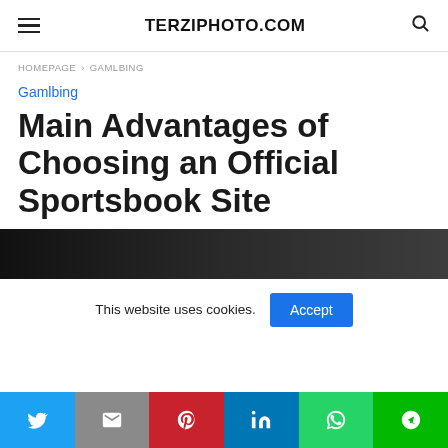TERZIPHOTO.COM
HOMEPAGE › GAMLBING
Gamlbing
Main Advantages of Choosing an Official Sportsbook Site
[Figure (photo): Dark banner image at top of article]
This website uses cookies.
Social share bar: Twitter, Gmail, Pinterest, LinkedIn, WhatsApp, Line